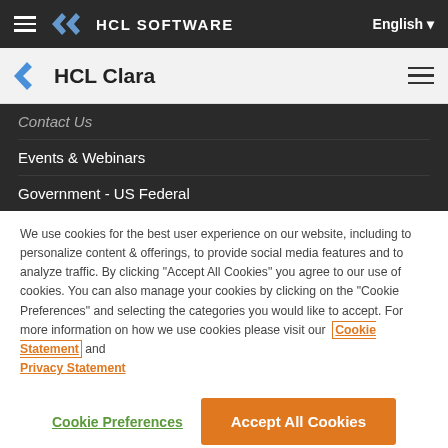HCL SOFTWARE | English
HCL Clara
Contact Us
Events & Webinars
Government - US Federal
We use cookies for the best user experience on our website, including to personalize content & offerings, to provide social media features and to analyze traffic. By clicking "Accept All Cookies" you agree to our use of cookies. You can also manage your cookies by clicking on the "Cookie Preferences" and selecting the categories you would like to accept. For more information on how we use cookies please visit our Cookie Statement and Privacy Statement
Cookie Preferences | Accept All Cookies